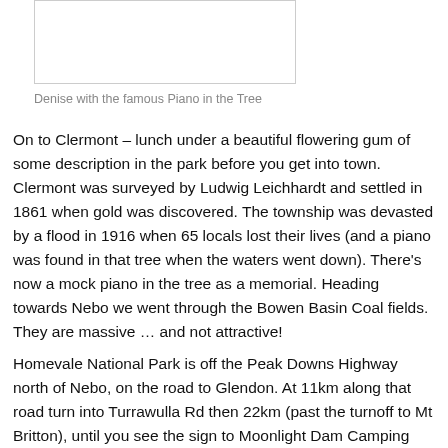[Figure (photo): A photo showing Denise with the famous Piano in the Tree]
Denise with the famous Piano in the Tree
On to Clermont – lunch under a beautiful flowering gum of some description in the park before you get into town. Clermont was surveyed by Ludwig Leichhardt and settled in 1861 when gold was discovered. The township was devasted by a flood in 1916 when 65 locals lost their lives (and a piano was found in that tree when the waters went down). There's now a mock piano in the tree as a memorial. Heading towards Nebo we went through the Bowen Basin Coal fields. They are massive … and not attractive!
Homevale National Park is off the Peak Downs Highway north of Nebo, on the road to Glendon. At 11km along that road turn into Turrawulla Rd then 22km (past the turnoff to Mt Britton), until you see the sign to Moonlight Dam Camping area 7km further in.